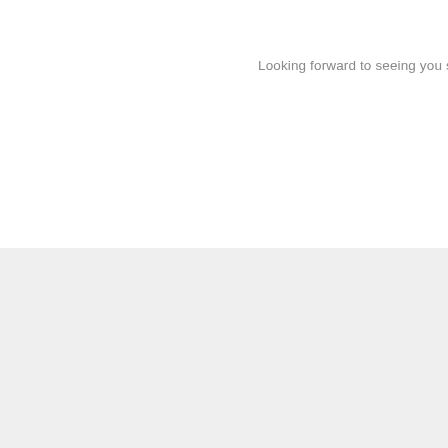Looking forward to seeing you s
ACCESS
AND SERVICES
Location and Opening Hours
Intermodal Hub
STM | RTM | RTL
Parking
Bixi | Communauto
WiFi